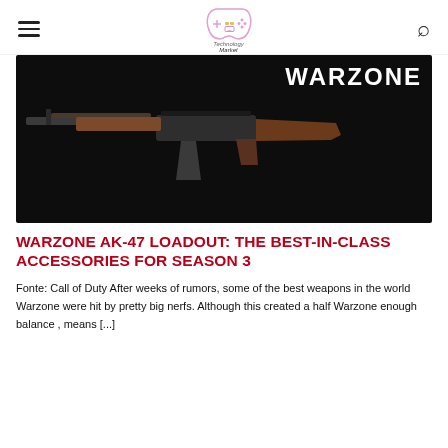The Technology Market
[Figure (photo): AK-47 rifle on dark background with WARZONE text in top right corner]
WARZONE AK-47 LOADOUT: THE BEST-IN-CLASS ACCESSORIES FOR SEASON 3
Fonte: Call of Duty After weeks of rumors, some of the best weapons in the world Warzone were hit by pretty big nerfs. Although this created a half Warzone enough balance , means [...]